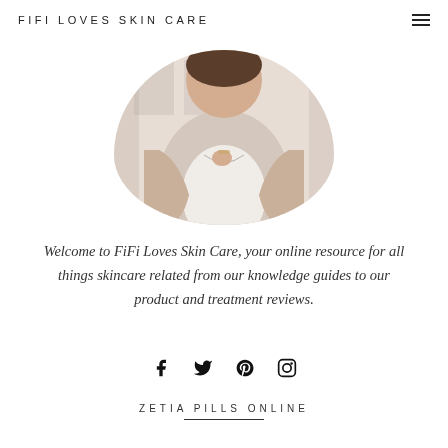FIFI LOVES SKIN CARE
[Figure (photo): Circular cropped photo of a woman in beige/tan cardigan over white top, holding a necklace, photographed from mid-torso up]
Welcome to FiFi Loves Skin Care, your online resource for all things skincare related from our knowledge guides to our product and treatment reviews.
[Figure (infographic): Social media icons: Facebook, Twitter, Pinterest, Instagram]
ZETIA PILLS ONLINE